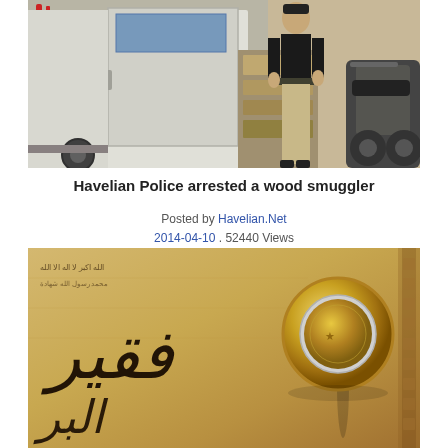[Figure (photo): A police officer in khaki uniform standing next to a white van with its side door open, showing wood/cargo inside. A motorbike is visible on the right side. Some red graffiti on the wall in the background.]
Havelian Police arrested a wood smuggler
Posted by Havelian.Net
2014-04-10 . 52440 Views
[Figure (photo): Close-up photo of Arabic calligraphy text on paper/parchment with a bimetallic coin (gold and silver colored) standing upright on the paper. Decorative border visible on the right edge.]